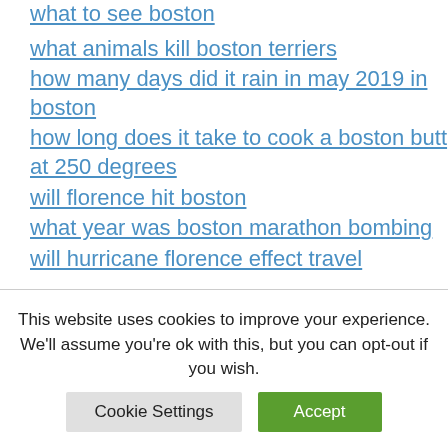what to see boston
what animals kill boston terriers
how many days did it rain in may 2019 in boston
how long does it take to cook a boston butt at 250 degrees
will florence hit boston
what year was boston marathon bombing
will hurricane florence effect travel
This website uses cookies to improve your experience. We'll assume you're ok with this, but you can opt-out if you wish.
Cookie Settings | Accept